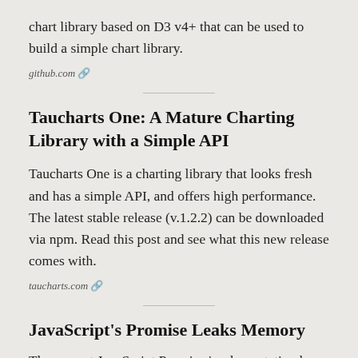chart library based on D3 v4+ that can be used to build a simple chart library.
github.com 🔗
Taucharts One: A Mature Charting Library with a Simple API
Taucharts One is a charting library that looks fresh and has a simple API, and offers high performance. The latest stable release (v.1.2.2) can be downloaded via npm. Read this post and see what this new release comes with.
taucharts.com 🔗
JavaScript's Promise Leaks Memory
The current JavaScript Promise implementation has this leak is a big problem, because tail-recursive calls are the cornerstone of functional programming.